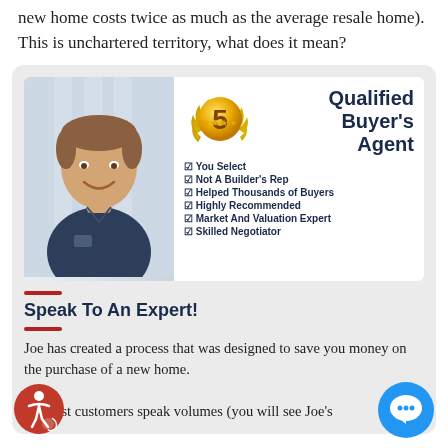new home costs twice as much as the average resale home). This is unchartered territory, what does it mean?
[Figure (infographic): Real estate agent profile card showing a man in a dark polo shirt on the left, a gold '5 star' badge in the center, and 'Qualified Buyer's Agent' title on the right, with a checklist: You Select, Not A Builder's Rep, Helped Thousands of Buyers, Highly Recommended, Market And Valuation Expert, Skilled Negotiator]
Speak To An Expert!
Joe has created a process that was designed to save you money on the purchase of a new home. His past customers speak volumes (you will see Joe's